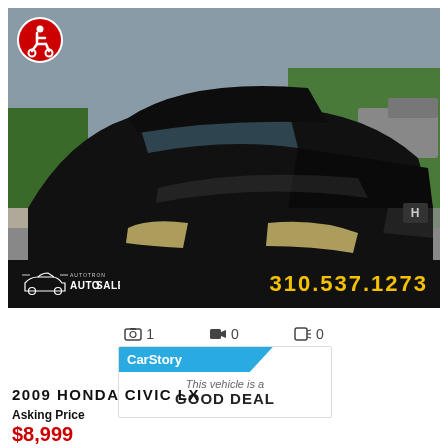[Figure (photo): Black Honda Civic LX parked on a street, front three-quarter view, with trees and parked cars visible in background. Autotron AutoSales dealer banner with phone number 310.537.1273 overlaid at the bottom of the image.]
📷 1   🎥 0   📋 0
[Figure (infographic): CarStory badge showing 'This vehicle is a GOOD DEAL']
2009 HONDA CIVIC LX
Asking Price
$8,999